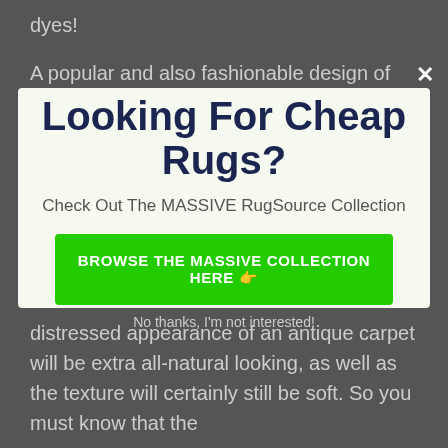dyes!
A popular and also fashionable design of rug right
[Figure (screenshot): Modal popup overlay on a dark grey background. The modal has a light green-white background with the heading 'Looking For Cheap Rugs?', subtext 'Check Out The MASSIVE RugSource Collection', and a green button labeled 'BROWSE THE MASSIVE COLLECTION HERE 👉'. A close X button appears top right. Below the modal a 'No thanks, I'm not interested!' link appears.]
distressed appearance of an antique carpet will be extra all-natural looking, as well as the texture will certainly still be soft. So you must know that the